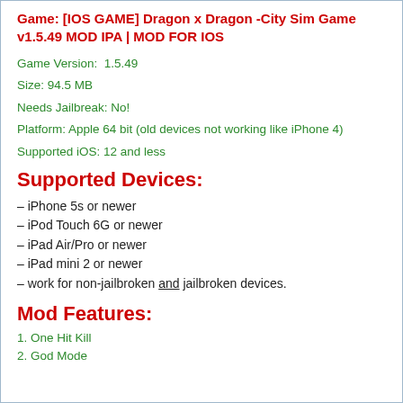Game: [IOS GAME] Dragon x Dragon -City Sim Game v1.5.49 MOD IPA | MOD FOR IOS
Game Version:  1.5.49
Size: 94.5 MB
Needs Jailbreak: No!
Platform: Apple 64 bit (old devices not working like iPhone 4)
Supported iOS: 12 and less
Supported Devices:
– iPhone 5s or newer
– iPod Touch 6G or newer
– iPad Air/Pro or newer
– iPad mini 2 or newer
– work for non-jailbroken and jailbroken devices.
Mod Features:
1. One Hit Kill
2. God Mode